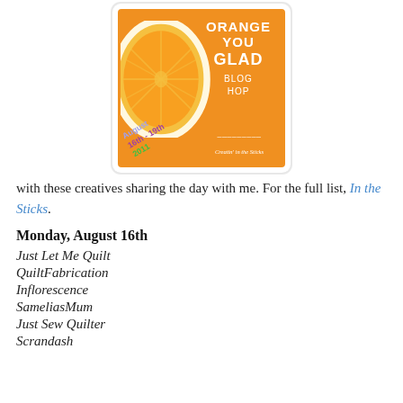[Figure (logo): Orange You Glad Blog Hop logo: orange background with orange slice image on left, bold white text 'ORANGE YOU GLAD BLOG HOP', date 'August 16th-19th 2011' in colored text, and 'Creatin' in the Sticks' script at bottom right.]
with these creatives sharing the day with me. For the full list, In the Sticks.
Monday, August 16th
Just Let Me Quilt
QuiltFabrication
Inflorescence
SameliasMum
Just Sew Quilter
Scrandash